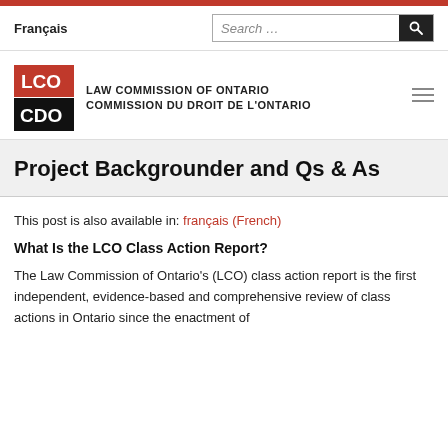Français | Search ...
[Figure (logo): LCO CDO logo with red and black squares containing letters, alongside text LAW COMMISSION OF ONTARIO / COMMISSION DU DROIT DE L'ONTARIO]
Project Backgrounder and Qs & As
This post is also available in: français (French)
What Is the LCO Class Action Report?
The Law Commission of Ontario's (LCO) class action report is the first independent, evidence-based and comprehensive review of class actions in Ontario since the enactment of